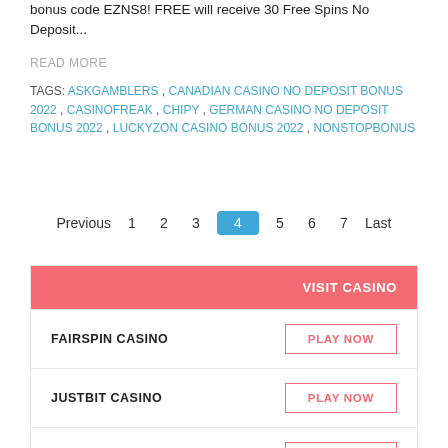bonus code EZNS8! FREE will receive 30 Free Spins No Deposit...
READ MORE
TAGS: ASKGAMBLERS , CANADIAN CASINO NO DEPOSIT BONUS 2022 , CASINOFREAK , CHIPY , GERMAN CASINO NO DEPOSIT BONUS 2022 , LUCKYZON CASINO BONUS 2022 , NONSTOPBONUS
Previous 1 2 3 4 5 6 7 Last
|  | VISIT CASINO |
| --- | --- |
| FAIRSPIN CASINO | PLAY NOW |
| JUSTBIT CASINO | PLAY NOW |
| IWILDCASINO | PLAY NOW |
| KOSMONAUT CASINO | PLAY NOW |